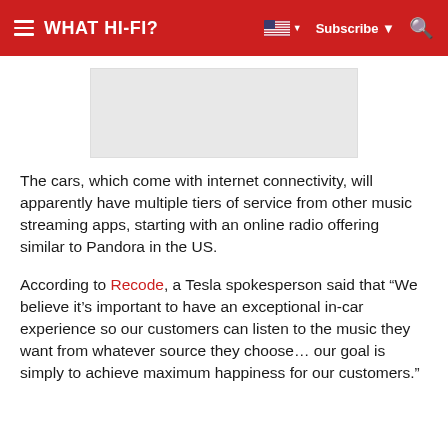WHAT HI-FI?
[Figure (other): Advertisement placeholder banner, light grey rectangle]
The cars, which come with internet connectivity, will apparently have multiple tiers of service from other music streaming apps, starting with an online radio offering similar to Pandora in the US.
According to Recode, a Tesla spokesperson said that “We believe it’s important to have an exceptional in-car experience so our customers can listen to the music they want from whatever source they choose… our goal is simply to achieve maximum happiness for our customers.”